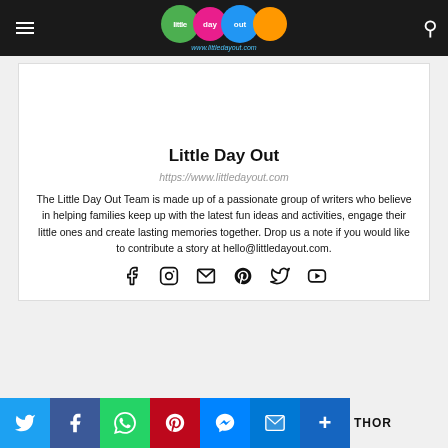Little Day Out — www.littledayout.com
Little Day Out
https://www.littledayout.com
The Little Day Out Team is made up of a passionate group of writers who believe in helping families keep up with the latest fun ideas and activities, engage their little ones and create lasting memories together. Drop us a note if you would like to contribute a story at hello@littledayout.com.
[Figure (infographic): Row of social media icons: Facebook, Instagram, Email, Pinterest, Twitter, YouTube]
Share bar with Twitter, Facebook, WhatsApp, Pinterest, Messenger, Email, More buttons and AUTHOR label